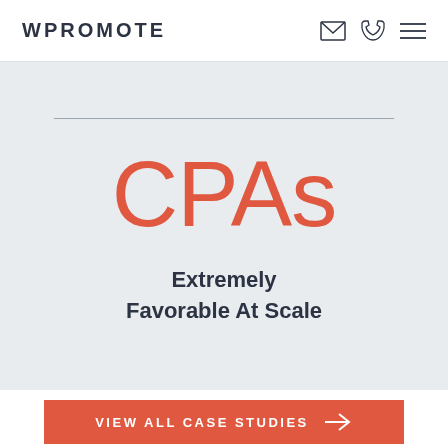WPROMOTE
CPAs
Extremely Favorable At Scale
VIEW ALL CASE STUDIES →